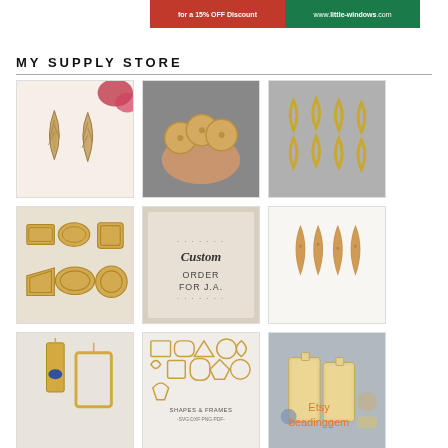[Figure (photo): Banner advertisement with red section 'for a 15% OFF Discount' and green section 'www.little-windows.com']
MY SUPPLY STORE
[Figure (photo): Grid of 9 craft/jewelry supply product images - wood earrings, round wood blanks, gold metal rings, gold bezels, custom order card, cork teardrop earrings, gold rectangle jewelry, shapes and frames SVG file, wood rectangle blanks]
Etsy beadinggem